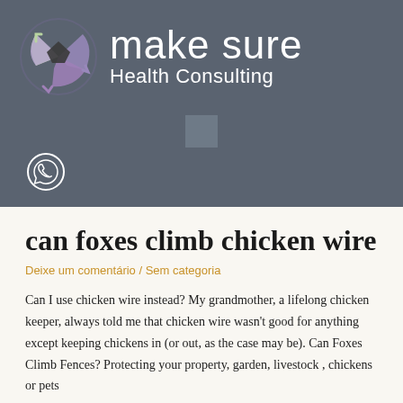[Figure (logo): Make Sure Health Consulting logo with circular recycling-arrows icon in lavender/green and white text]
[Figure (other): WhatsApp icon in white on dark grey background]
can foxes climb chicken wire
Deixe um comentário / Sem categoria
Can I use chicken wire instead? My grandmother, a lifelong chicken keeper, always told me that chicken wire wasn't good for anything except keeping chickens in (or out, as the case may be). Can Foxes Climb Fences? Protecting your property, garden, livestock , chickens or pets